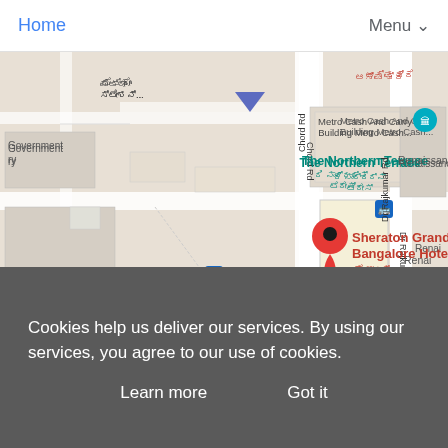Home  Menu
[Figure (map): Google Maps screenshot showing area around Sheraton Grand Bangalore Hotel in Bangalore, India. Visible landmarks include Metro Cash And Carry Building, The Northern Terrace, Jetlag Bar and Grill, Sephora Cosmetics store, Amazon Office World Trade Centre, Renaissance hotel. Roads include Chord Rd and Dr Rajkumar Rd. Map pins shown for Sheraton Grand Bangalore Hotel at... (red), Jetlag Bar and Grill (orange), Sephora (blue), Amazon Office (gray), The Northern Terrace (teal). Kannada script labels visible throughout. Blue transit icons visible. Zoom-in (+) button visible bottom right.]
Cookies help us deliver our services. By using our services, you agree to our use of cookies.
Learn more   Got it